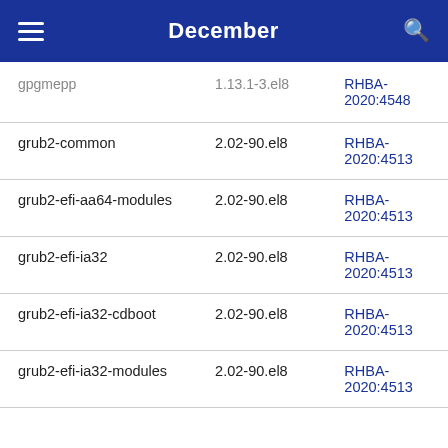December
| gpgmepp | 1.13.1-3.el8 | RHBA-2020:4548 |
| grub2-common | 2.02-90.el8 | RHBA-2020:4513 |
| grub2-efi-aa64-modules | 2.02-90.el8 | RHBA-2020:4513 |
| grub2-efi-ia32 | 2.02-90.el8 | RHBA-2020:4513 |
| grub2-efi-ia32-cdboot | 2.02-90.el8 | RHBA-2020:4513 |
| grub2-efi-ia32-modules | 2.02-90.el8 | RHBA-2020:4513 |